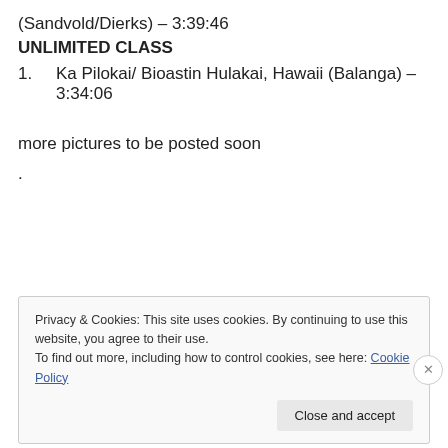(Sandvold/Dierks) – 3:39:46
UNLIMITED CLASS
1.        Ka Pilokai/ Bioastin Hulakai, Hawaii (Balanga) – 3:34:06
more pictures to be posted soon
.
Privacy & Cookies: This site uses cookies. By continuing to use this website, you agree to their use.
To find out more, including how to control cookies, see here: Cookie Policy